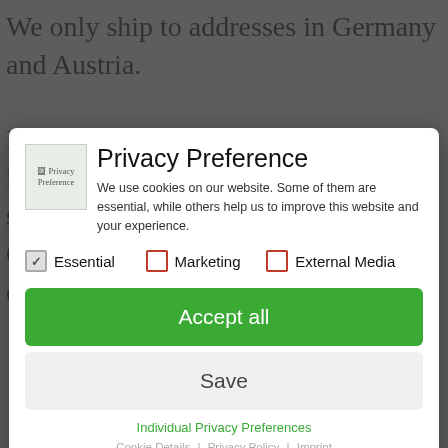We only ship to addresses in Germany and Austria. In addition to the product prices indicated we also charge flat-rate shipping costs for delivery within Germany and Austria [EUR 6.90 per order]. Shipping
Privacy Preference
We use cookies on our website. Some of them are essential, while others help us to improve this website and your experience.
Essential (checked), Marketing (unchecked), External Media (unchecked)
Accept all
Save
Individual Privacy Preferences
Cookie Details | Privacy Policy | Imprint